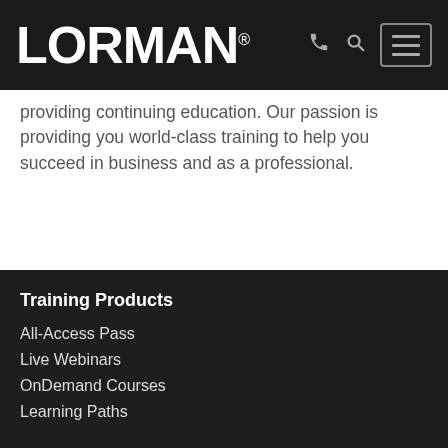LORMAN®
providing continuing education. Our passion is providing you world-class training to help you succeed in business and as a professional.
Product ID: 407493
Published 2020
Training Products
All-Access Pass
Live Webinars
OnDemand Courses
Learning Paths